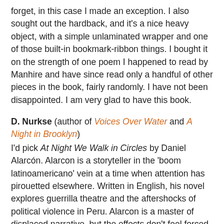forget, in this case I made an exception. I also sought out the hardback, and it's a nice heavy object, with a simple unlaminated wrapper and one of those built-in bookmark-ribbon things. I bought it on the strength of one poem I happened to read by Manhire and have since read only a handful of other pieces in the book, fairly randomly. I have not been disappointed. I am very glad to have this book.
D. Nurkse (author of Voices Over Water and A Night in Brooklyn)
I'd pick At Night We Walk in Circles by Daniel Alarcón. Alarcon is a storyteller in the 'boom latinoamericano' vein at a time when attention has pirouetted elsewhere. Written in English, his novel explores guerrilla theatre and the aftershocks of political violence in Peru. Alarcon is a master of displaced narrative, but the effects don't feel forced. He's faithful to his characters' volatility, to a truth that never stays put.
Leaving Atlanta by Tayari Jones, a writer who can explore 'race and class' without a trace of rhetoric. I think it's a classic – a semi-autobiographical portrait of a girl coming of